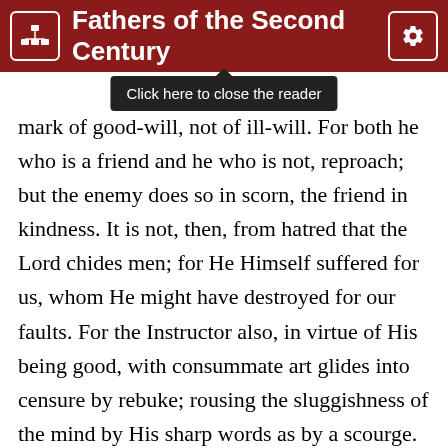Fathers of the Second Century
mark of good-will, not of ill-will. For both he who is a friend and he who is not, reproach; but the enemy does so in scorn, the friend in kindness. It is not, then, from hatred that the Lord chides men; for He Himself suffered for us, whom He might have destroyed for our faults. For the Instructor also, in virtue of His being good, with consummate art glides into censure by rebuke; rousing the sluggishness of the mind by His sharp words as by a scourge. Again in turn He endeavours to exhort the same persons. For those who are not induced by praise are spurred on by censure; and those whom